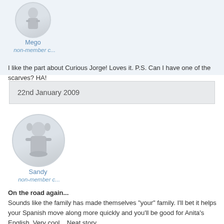[Figure (illustration): Avatar icon of user Mego - grey figurine in a circle]
Mego
non-member c...
I like the part about Curious Jorge! Loves it. P.S. Can I have one of the scarves? HA!
22nd January 2009
[Figure (illustration): Avatar icon of user Sandy - grey figurine of a girl in a circle]
Sandy
non-member c...
On the road again...
Sounds like the family has made themselves "your" family. I'll bet it helps your Spanish move along more quickly and you'll be good for Anita's English. Very cool... Neat story